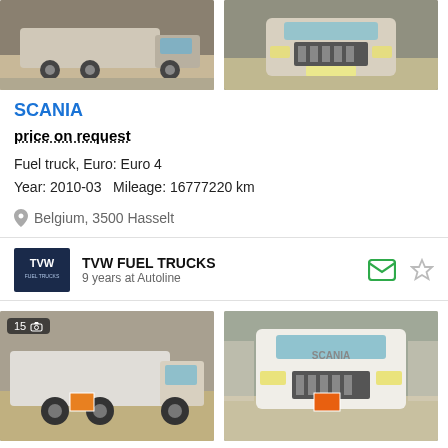[Figure (photo): Two photos of Scania fuel truck — side view and front view, shown at top of listing]
SCANIA
price on request
Fuel truck, Euro: Euro 4
Year: 2010-03   Mileage: 16777220 km
Belgium, 3500 Hasselt
TVW FUEL TRUCKS
9 years at Autoline
[Figure (photo): Two photos of Scania fuel truck — side view and front view, shown at bottom of listing, second listing entry]